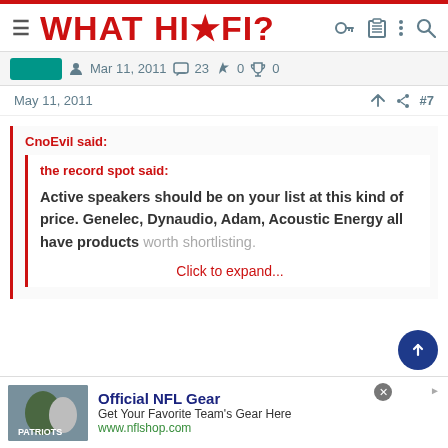WHAT HI·FI?
Mar 11, 2011  23  0  0
May 11, 2011  #7
CnoEvil said:
the record spot said:
Active speakers should be on your list at this kind of price. Genelec, Dynaudio, Adam, Acoustic Energy all have products worth shortlisting.
Click to expand...
Official NFL Gear
Get Your Favorite Team's Gear Here
www.nflshop.com